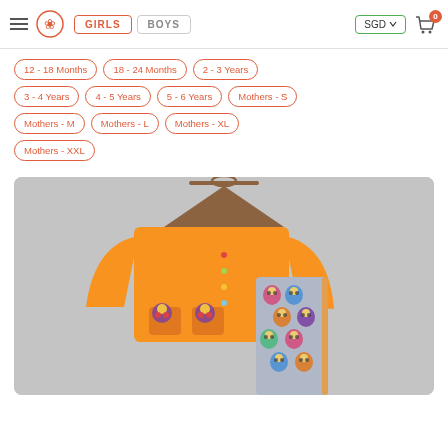GIRLS | BOYS | SGD | 0
12 - 18 Months
18 - 24 Months
2 - 3 Years
3 - 4 Years
4 - 5 Years
5 - 6 Years
Mothers - S
Mothers - M
Mothers - L
Mothers - XL
Mothers - XXL
[Figure (photo): Children's clothing set consisting of an orange long-sleeve button-up jacket with owl pocket patches and grey pants printed with colorful owl pattern, displayed on a hanger against a grey background.]